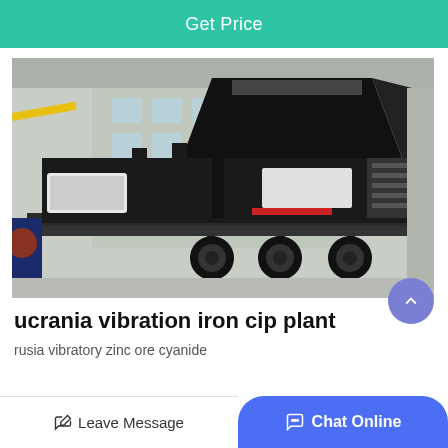Get Price
[Figure (photo): Large mobile crushing/screening plant mounted on a multi-axle trailer, photographed inside an industrial warehouse. The machine is predominantly black with white accents and has a large hopper/chute structure on top. Multiple large rubber tires are visible beneath the trailer frame.]
ucrania vibration iron cip plant
rusia vibratory zinc ore cyanide
Leave Message   Chat Online